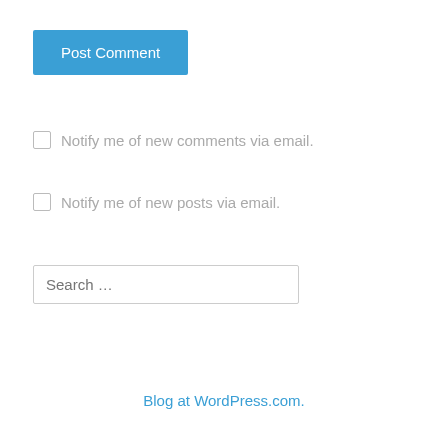[Figure (screenshot): Blue 'Post Comment' button]
Notify me of new comments via email.
Notify me of new posts via email.
[Figure (screenshot): Search input box with placeholder 'Search …']
Blog at WordPress.com.